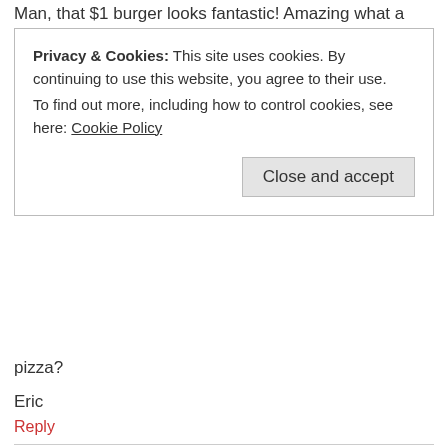Man, that $1 burger looks fantastic! Amazing what a
Privacy & Cookies: This site uses cookies. By continuing to use this website, you agree to their use.
To find out more, including how to control cookies, see here: Cookie Policy
Close and accept
pizza?
Eric
Reply
[Figure (photo): Small grayscale avatar image showing a circular/swirling pattern, likely a profile photo]
JustinRoG says:
July 22, 2015 at 10:52 pm
One food regret was asking our maid to make empanadas for us. We thought it